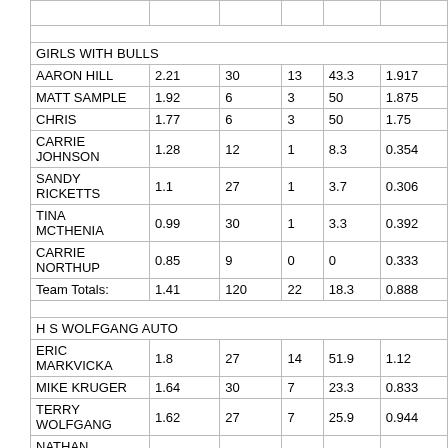|  |  |  |  |  |  |
| --- | --- | --- | --- | --- | --- |
| GIRLS WITH BULLS |  |  |  |  |  |
| AARON HILL | 2.21 | 30 | 13 | 43.3 | 1.917 |
| MATT SAMPLE | 1.92 | 6 | 3 | 50 | 1.875 |
| CHRIS | 1.77 | 6 | 3 | 50 | 1.75 |
| CARRIE JOHNSON | 1.28 | 12 | 1 | 8.3 | 0.354 |
| SANDY RICKETTS | 1.1 | 27 | 1 | 3.7 | 0.306 |
| TINA MCTHENIA | 0.99 | 30 | 1 | 3.3 | 0.392 |
| CARRIE NORTHUP | 0.85 | 9 | 0 | 0 | 0.333 |
| Team Totals: | 1.41 | 120 | 22 | 18.3 | 0.888 |
| H S WOLFGANG AUTO |  |  |  |  |  |
| ERIC MARKVICKA | 1.8 | 27 | 14 | 51.9 | 1.12 |
| MIKE KRUGER | 1.64 | 30 | 7 | 23.3 | 0.833 |
| TERRY WOLFGANG | 1.62 | 27 | 7 | 25.9 | 0.944 |
| NATHAN WOLFGANG | 1.36 | 3 | 2 | 66.7 | 0.917 |